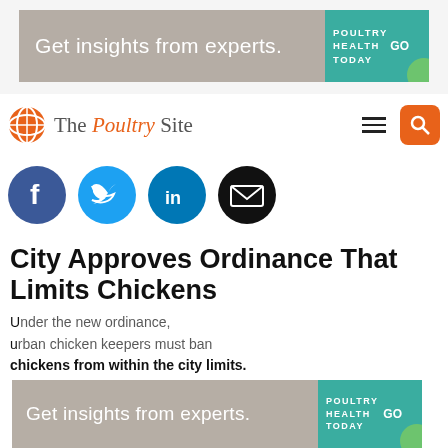[Figure (infographic): Advertisement banner: 'Get insights from experts.' with Poultry Health Today logo and GO button]
[Figure (logo): The Poultry Site logo with globe icon, hamburger menu, and search button]
[Figure (infographic): Social media share icons: Facebook, Twitter, LinkedIn, Email]
City Approves Ordinance That Limits Chickens
Under the new ordinance, urban chicken keepers must ban chickens from within the city limits.
[Figure (infographic): Second advertisement banner overlay: 'Get insights from experts.' with Poultry Health Today logo and GO button]